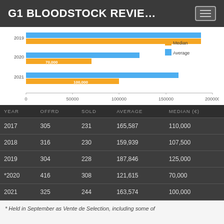G1 BLOODSTOCK REVIE…
[Figure (grouped-bar-chart): Median and Average by Year]
| YEAR | OFFRD | SOLD | AVERAGE | MEDIAN (€) |
| --- | --- | --- | --- | --- |
| 2017 | 305 | 231 | 165,587 | 110,000 |
| 2018 | 316 | 230 | 159,939 | 107,500 |
| 2019 | 304 | 228 | 187,846 | 125,000 |
| *2020 | 416 | 308 | 121,615 | 70,000 |
| 2021 | 325 | 244 | 163,574 | 100,000 |
* Held in September as Vente de Selection, including some of